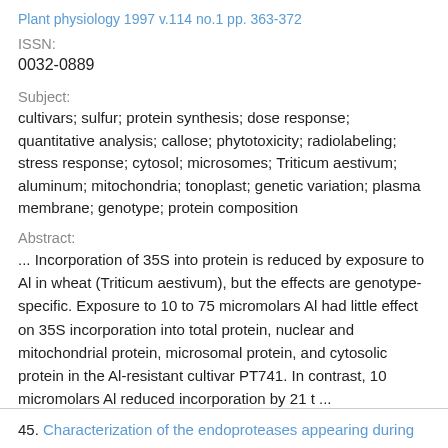Plant physiology 1997 v.114 no.1 pp. 363-372
ISSN:
0032-0889
Subject:
cultivars; sulfur; protein synthesis; dose response; quantitative analysis; callose; phytotoxicity; radiolabeling; stress response; cytosol; microsomes; Triticum aestivum; aluminum; mitochondria; tonoplast; genetic variation; plasma membrane; genotype; protein composition
Abstract:
... Incorporation of 35S into protein is reduced by exposure to Al in wheat (Triticum aestivum), but the effects are genotype-specific. Exposure to 10 to 75 micromolars Al had little effect on 35S incorporation into total protein, nuclear and mitochondrial protein, microsomal protein, and cytosolic protein in the Al-resistant cultivar PT741. In contrast, 10 micromolars Al reduced incorporation by 21 t ...
45. Characterization of the endoproteases appearing during